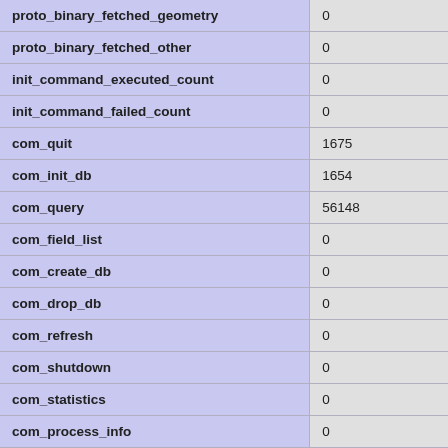| Variable | Value |
| --- | --- |
| proto_binary_fetched_geometry | 0 |
| proto_binary_fetched_other | 0 |
| init_command_executed_count | 0 |
| init_command_failed_count | 0 |
| com_quit | 1675 |
| com_init_db | 1654 |
| com_query | 56148 |
| com_field_list | 0 |
| com_create_db | 0 |
| com_drop_db | 0 |
| com_refresh | 0 |
| com_shutdown | 0 |
| com_statistics | 0 |
| com_process_info | 0 |
| com_connect | 0 |
| com_process_kill | 0 |
| com_debug | 0 |
| com_ping | 0 |
| com_time | 0 |
| com_delayed_insert | 0 |